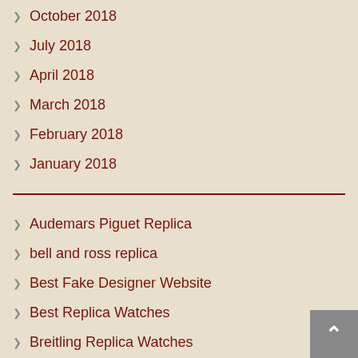October 2018
July 2018
April 2018
March 2018
February 2018
January 2018
Audemars Piguet Replica
bell and ross replica
Best Fake Designer Website
Best Replica Watches
Breitling Replica Watches
Constantin Vacheron Patrimony Replica